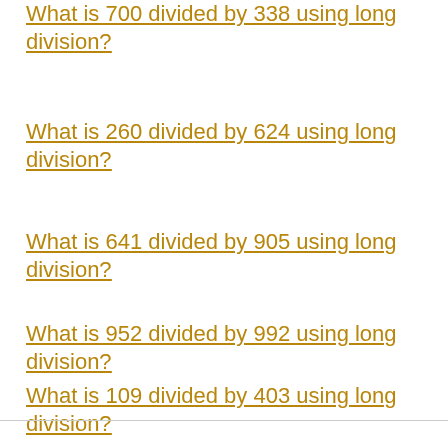What is 700 divided by 338 using long division?
What is 260 divided by 624 using long division?
What is 641 divided by 905 using long division?
What is 952 divided by 992 using long division?
What is 109 divided by 403 using long division?